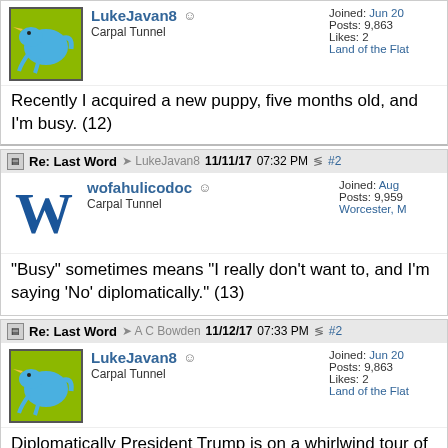LukeJavan8 | Carpal Tunnel | Joined: Jun 20 | Posts: 9,863 | Likes: 2 | Land of the Flat
Recently I acquired a new puppy, five months old, and I'm busy. (12)
Re: Last Word — LukeJavan8 11/11/17 07:32 PM #2
wofahulicodoc | Carpal Tunnel | Joined: Aug | Posts: 9,959 | Worcester, M
"Busy" sometimes means "I really don't want to, and I'm saying 'No' diplomatically." (13)
Re: Last Word — A C Bowden 11/12/17 07:33 PM #2
LukeJavan8 | Carpal Tunnel | Joined: Jun 20 | Posts: 9,863 | Likes: 2 | Land of the Flat
Diplomatically President Trump is on a whirlwind tour of Asian count beefing up trade (14).